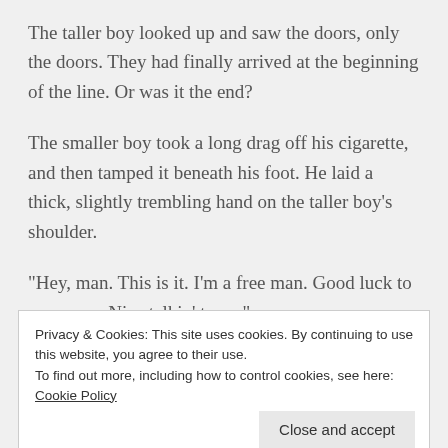The taller boy looked up and saw the doors, only the doors. They had finally arrived at the beginning of the line. Or was it the end?
The smaller boy took a long drag off his cigarette, and then tamped it beneath his foot. He laid a thick, slightly trembling hand on the taller boy’s shoulder.
“Hey, man. This is it. I’m a free man. Good luck to you, man. Nice talkin’ to ya.”
Privacy & Cookies: This site uses cookies. By continuing to use this website, you agree to their use.
To find out more, including how to control cookies, see here: Cookie Policy
The taller boy waited, holding his breath. And he